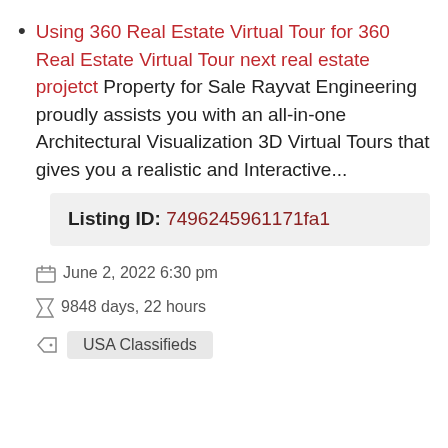Using 360 Real Estate Virtual Tour for 360 Real Estate Virtual Tour next real estate projetct Property for Sale Rayvat Engineering proudly assists you with an all-in-one Architectural Visualization 3D Virtual Tours that gives you a realistic and Interactive...
Listing ID: 7496245961171fa1
June 2, 2022 6:30 pm
9848 days, 22 hours
USA Classifieds